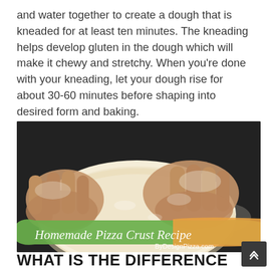and water together to create a dough that is kneaded for at least ten minutes. The kneading helps develop gluten in the dough which will make it chewy and stretchy. When you're done with your kneading, let your dough rise for about 30-60 minutes before shaping into desired form and baking.
[Figure (photo): Hands kneading pizza dough on a dark surface dusted with flour, with a green and orange brush-stroke banner reading 'Homemade Pizza Crust Recipe' and 'ByDesignPizza.com']
WHAT IS THE DIFFERENCE